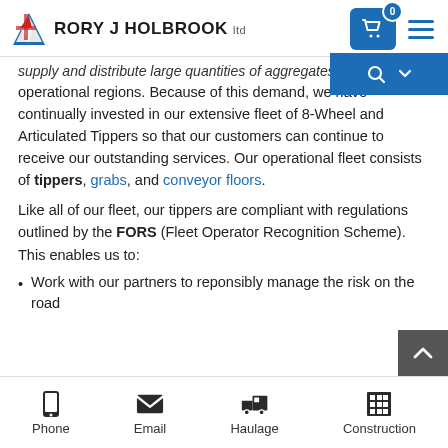RORY J HOLBROOK ltd
supply and distribute large quantities of aggregates to operational regions. Because of this demand, we have continually invested in our extensive fleet of 8-Wheel and Articulated Tippers so that our customers can continue to receive our outstanding services. Our operational fleet consists of tippers, grabs, and conveyor floors.
Like all of our fleet, our tippers are compliant with regulations outlined by the FORS (Fleet Operator Recognition Scheme). This enables us to:
Work with our partners to reponsibly manage the risk on the road
Phone | Email | Haulage | Construction